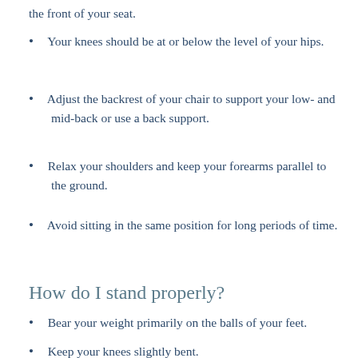the front of your seat.
Your knees should be at or below the level of your hips.
Adjust the backrest of your chair to support your low- and mid-back or use a back support.
Relax your shoulders and keep your forearms parallel to the ground.
Avoid sitting in the same position for long periods of time.
How do I stand properly?
Bear your weight primarily on the balls of your feet.
Keep your knees slightly bent.